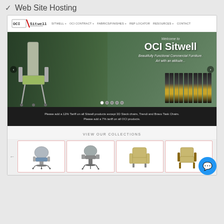✓ Web Site Hosting
[Figure (screenshot): Screenshot of OCI Sitwell commercial furniture website showing a navigation bar with logo and menu links (SITWELL, OCI CONTRACT, FABRICS/FINISHES, REP LOCATOR, RESOURCES, CONTACT), a hero carousel image showing commercial chairs in an office setting with overlay text 'Welcome to OCI Sitwell - Beautifully Functional Commercial Furniture. Art with an attitude.', left and right carousel navigation arrows, carousel dot indicators, a dark banner with tariff notice text, a VIEW OUR COLLECTIONS section header, and a product grid showing four chair thumbnail images with a live chat bubble icon in the bottom right corner.]